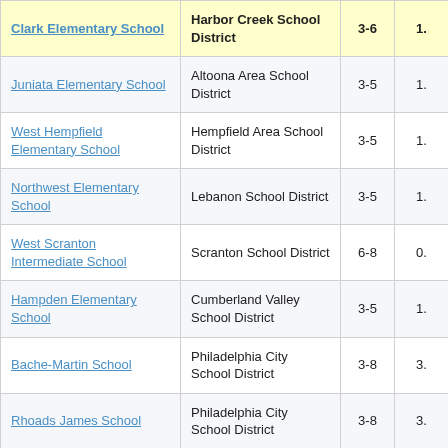| School | District | Grades | Value |
| --- | --- | --- | --- |
| Clark Elementary School | Harbor Creek School District | 3-6 | 1. |
| Juniata Elementary School | Altoona Area School District | 3-5 | 1. |
| West Hempfield Elementary School | Hempfield Area School District | 3-5 | 1. |
| Northwest Elementary School | Lebanon School District | 3-5 | 1. |
| West Scranton Intermediate School | Scranton School District | 6-8 | 0. |
| Hampden Elementary School | Cumberland Valley School District | 3-5 | 1. |
| Bache-Martin School | Philadelphia City School District | 3-8 | 3. |
| Rhoads James School | Philadelphia City School District | 3-8 | 3. |